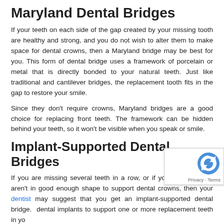Maryland Dental Bridges
If your teeth on each side of the gap created by your missing tooth are healthy and strong, and you do not wish to alter them to make space for dental crowns, then a Maryland bridge may be best for you. This form of dental bridge uses a framework of porcelain or metal that is directly bonded to your natural teeth. Just like traditional and cantilever bridges, the replacement tooth fits in the gap to restore your smile.
Since they don't require crowns, Maryland bridges are a good choice for replacing front teeth. The framework can be hidden behind your teeth, so it won't be visible when you speak or smile.
Implant-Supported Dental Bridges
If you are missing several teeth in a row, or if your natural teeth aren't in good enough shape to support dental crowns, then your dentist may suggest that you get an implant-supported dental bridge. dental implants to support one or more replacement teeth in yo
These are the most permanent forms of dental bridges in Seton, but they also require several visits and long healing periods. Like other forms of dental bridges, these can match the shape and color of your natural teeth